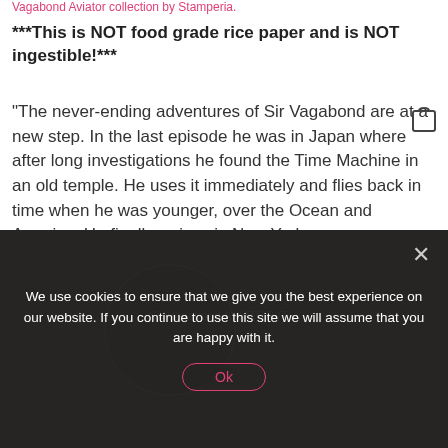Vagabond Aviator collection by Stamperia.
***This is NOT food grade rice paper and is NOT ingestible!***
"The never-ending adventures of Sir Vagabond are at a new step. In the last episode he was in Japan where after long investigations he found the Time Machine in an old temple. He uses it immediately and flies back in time when he was younger, over the Ocean and America. He finally arrives in New York, so many memories. Designed by Antonis Tzanidakis for Stamperia, Sir Vagabond represents his alter ego, continuing his adventure, always in search of treasures around the world." ~ Stamperia
[Figure (screenshot): Cookie consent overlay on top of a product image showing Sir Vagabond AVIATOR. The overlay has a dark semi-transparent background with white text about cookie usage, an Ok button in pink, and a close X button.]
We use cookies to ensure that we give you the best experience on our website. If you continue to use this site we will assume that you are happy with it.